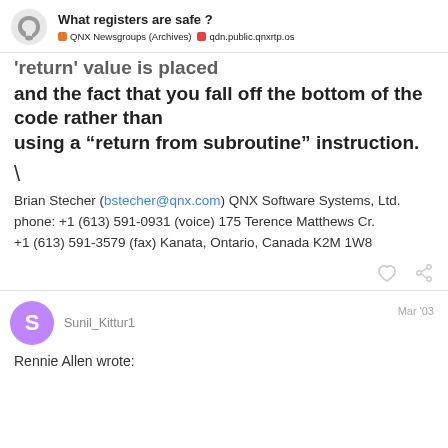What registers are safe ? QNX Newsgroups (Archives) qdn.public.qnxrtp.os
'return' value is placed and the fact that you fall off the bottom of the code rather than using a “return from subroutine” instruction.
\
Brian Stecher (bstecher@qnx.com) QNX Software Systems, Ltd.
phone: +1 (613) 591-0931 (voice) 175 Terence Matthews Cr.
+1 (613) 591-3579 (fax) Kanata, Ontario, Canada K2M 1W8
Sunil_Kittur1
Mar '03
Rennie Allen wrote: